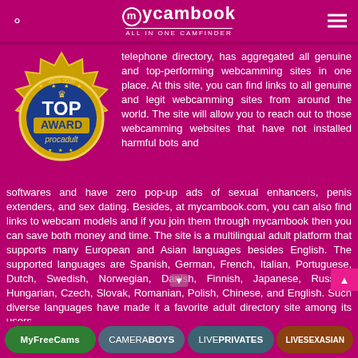mycambook ALL IN ONE CAMFINDER
[Figure (illustration): Gold badge award with blue center reading TOP AWARD procadult, 2019-2020]
telephone directory, has aggregated all genuine and top-performing webcamming sites in one place. At this site, you can find links to all genuine and legit webcamming sites from around the world. The site will allow you to reach out to those webcamming websites that have not installed harmful bots and softwares and have zero pop-up ads of sexual enhancers, penis extenders, and sex dating. Besides, at mycambook.com, you can also find links to webcam models and if you join them through mycambook then you can save both money and time. The site is a multilingual adult platform that supports many European and Asian languages besides English. The supported languages are Spanish, German, French, Italian, Portuguese, Dutch, Swedish, Norwegian, Danish, Finnish, Japanese, Russian, Hungarian, Czech, Slovak, Romanian, Polish, Chinese, and English. Such diverse languages have made it a favorite adult directory site among its users.
MyFreeCams CAMERABOYS LIVEPRIVATES LIVESEXASIAN